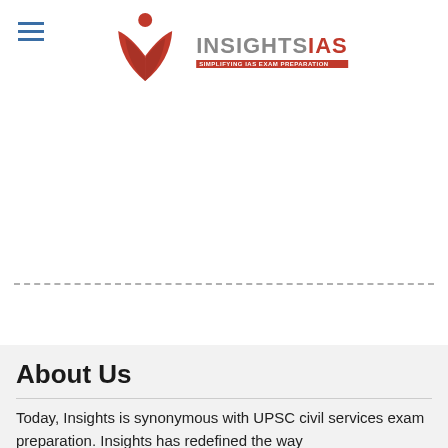INSIGHTSIAS - SIMPLIFYING IAS EXAM PREPARATION
[Figure (logo): InsightsIAS logo: red open book with red circle above it, and text INSIGHTSIAS with tagline SIMPLIFYING IAS EXAM PREPARATION]
About Us
Today, Insights is synonymous with UPSC civil services exam preparation. Insights has redefined the way